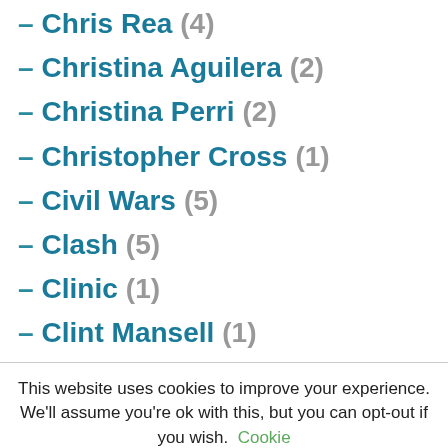– Chris Rea (4)
– Christina Aguilera (2)
– Christina Perri (2)
– Christopher Cross (1)
– Civil Wars (5)
– Clash (5)
– Clinic (1)
– Clint Mansell (1)
This website uses cookies to improve your experience. We'll assume you're ok with this, but you can opt-out if you wish. Cookie settings